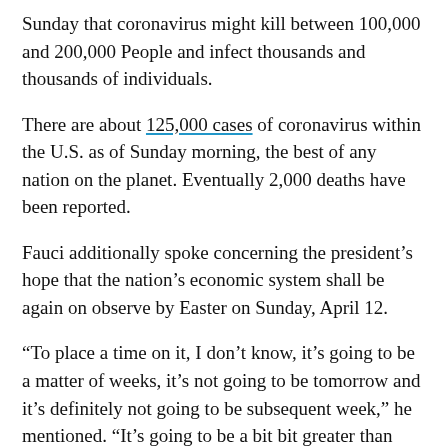Sunday that coronavirus might kill between 100,000 and 200,000 People and infect thousands and thousands of individuals.
There are about 125,000 cases of coronavirus within the U.S. as of Sunday morning, the best of any nation on the planet. Eventually 2,000 deaths have been reported.
Fauci additionally spoke concerning the president's hope that the nation's economic system shall be again on observe by Easter on Sunday, April 12.
“To place a time on it, I don’t know, it’s going to be a matter of weeks, it’s not going to be tomorrow and it’s definitely not going to be subsequent week,” he mentioned. “It’s going to be a bit bit greater than that.”
RELATED TOPICS: